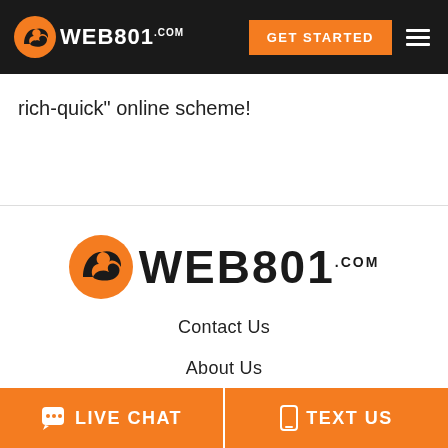WEB801.COM | GET STARTED
rich-quick" online scheme!
[Figure (logo): WEB801.COM logo with orange rhino icon and black bold text]
Contact Us
About Us
Log In
[Figure (other): Orange SCHEDULE A CALL button partially visible]
LIVE CHAT | TEXT US